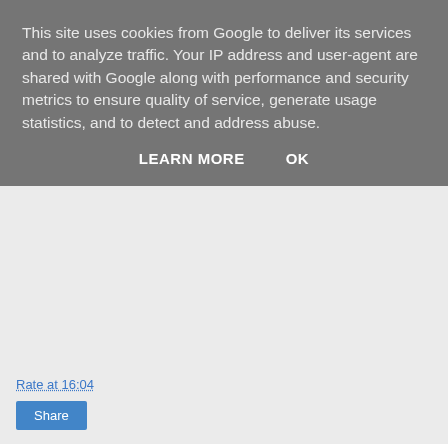This site uses cookies from Google to deliver its services and to analyze traffic. Your IP address and user-agent are shared with Google along with performance and security metrics to ensure quality of service, generate usage statistics, and to detect and address abuse.
LEARN MORE   OK
Rate at 16:04
Share
4 comments:
Mandy  24 June 2015 at 20:33
I keep meaning to try baked oatmeal but never seem to get around to it. PBJ is the favourite toast topping of my husband and our three year old so I'll have to surprise them with this on the weekend! #recipeoftheweek
Reply